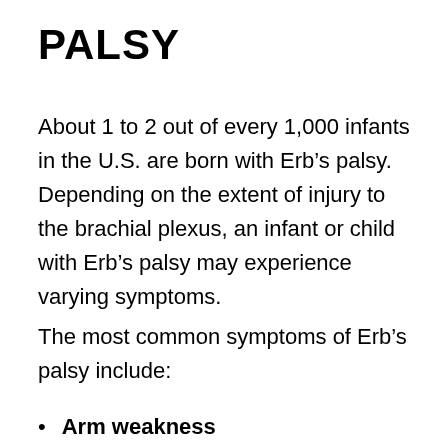PALSY
About 1 to 2 out of every 1,000 infants in the U.S. are born with Erb’s palsy. Depending on the extent of injury to the brachial plexus, an infant or child with Erb’s palsy may experience varying symptoms.
The most common symptoms of Erb’s palsy include:
Arm weakness